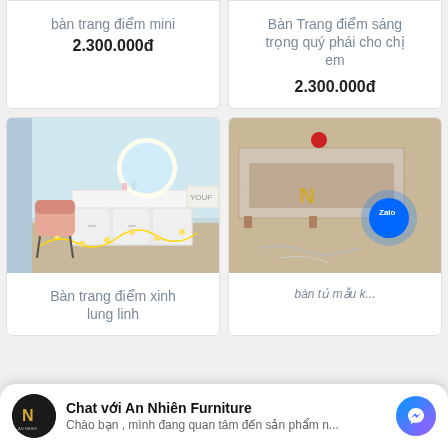bàn trang điểm mini
2.300.000đ
Bàn Trang điểm sáng trọng quý phái cho chị em
2.300.000đ
[Figure (photo): Dressing table with round LED mirror and pink velvet chair with fairy lights]
Bàn trang điểm xinh lung linh
[Figure (photo): Wooden TV cabinet wrapped in plastic packaging with gold N logo and Zalo icon overlay]
bàn tủ mẫu k...
Chat với An Nhiên Furniture
Chào bạn , mình đang quan tâm đến sản phẩm n...